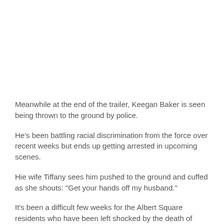Meanwhile at the end of the trailer, Keegan Baker is seen being thrown to the ground by police.
He's been battling racial discrimination from the force over recent weeks but ends up getting arrested in upcoming scenes.
Hie wife Tiffany sees him pushed to the ground and cuffed as she shouts: "Get your hands off my husband."
It's been a difficult few weeks for the Albert Square residents who have been left shocked by the death of Sharon